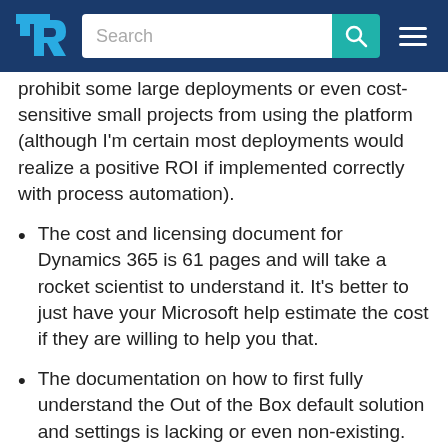TrustRadius — Search
prohibit some large deployments or even cost-sensitive small projects from using the platform (although I'm certain most deployments would realize a positive ROI if implemented correctly with process automation).
The cost and licensing document for Dynamics 365 is 61 pages and will take a rocket scientist to understand it. It's better to just have your Microsoft help estimate the cost if they are willing to help you that.
The documentation on how to first fully understand the Out of the Box default solution and settings is lacking or even non-existing. This has the potential to derail Dynamic 365 launches and implementations from the gitgo. Want to use an out of the box entity?.. well it's probably